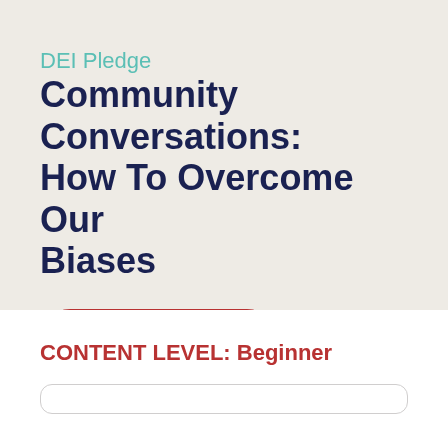DEI Pledge
Community Conversations: How To Overcome Our Biases
Register Now!
CONTENT LEVEL: Beginner